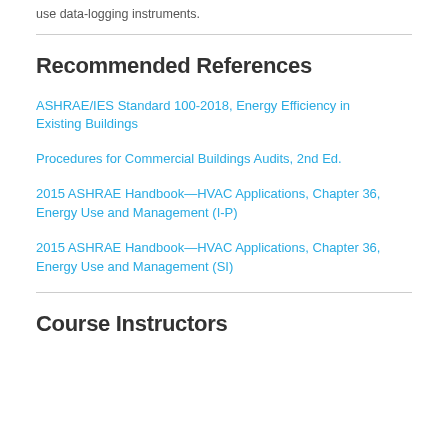use data-logging instruments.
Recommended References
ASHRAE/IES Standard 100-2018, Energy Efficiency in Existing Buildings
Procedures for Commercial Buildings Audits, 2nd Ed.
2015 ASHRAE Handbook—HVAC Applications, Chapter 36, Energy Use and Management (I-P)
2015 ASHRAE Handbook—HVAC Applications, Chapter 36, Energy Use and Management (SI)
Course Instructors